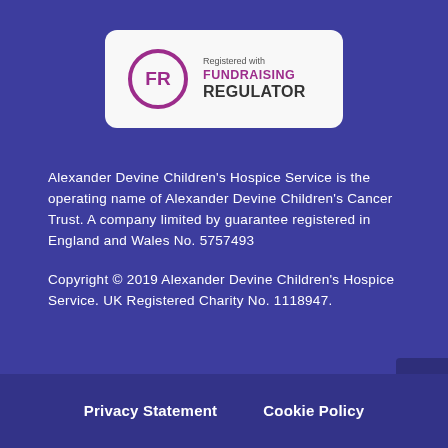[Figure (logo): Fundraising Regulator logo: white rounded rectangle with FR circle in purple and text 'Registered with FUNDRAISING REGULATOR']
Alexander Devine Children's Hospice Service is the operating name of Alexander Devine Children's Cancer Trust. A company limited by guarantee registered in England and Wales No. 5757493
Copyright © 2019 Alexander Devine Children's Hospice Service. UK Registered Charity No. 1118947.
Privacy Statement
Cookie Policy